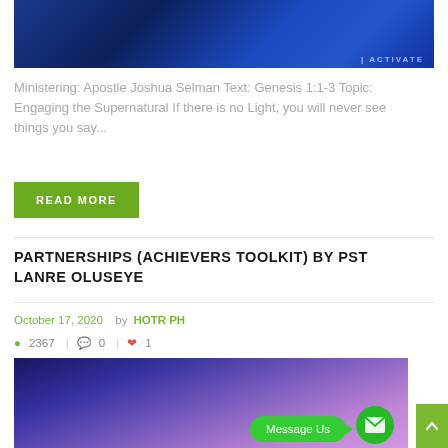[Figure (photo): Dark stage photo with blue lighting and 'ACTIVATE' text watermark, showing a speaker on stage]
Ministering: Apostle Joshua Selman Text: Genesis 1:1-3 Topic: Engaging the Supernatural If there is no Light, you will never see things you say...
READ MORE
PARTNERSHIPS (ACHIEVERS TOOLKIT) BY PST LANRE OLUSEYE
October 17, 2020  by HOTR PH
2367  |  0  |  1
[Figure (photo): Man in dark blazer speaking on stage with purple/pink background lighting]